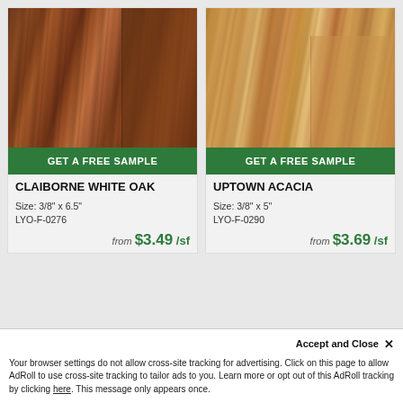[Figure (photo): Close-up photo of dark brown Claiborne White Oak hardwood flooring planks]
GET A FREE SAMPLE
CLAIBORNE WHITE OAK
Size: 3/8" x 6.5"
LYO-F-0276
from $3.49 /sf
[Figure (photo): Close-up photo of light golden-tan Uptown Acacia hardwood flooring planks]
GET A FREE SAMPLE
UPTOWN ACACIA
Size: 3/8" x 5"
LYO-F-0290
from $3.69 /sf
Accept and Close ×
Your browser settings do not allow cross-site tracking for advertising. Click on this page to allow AdRoll to use cross-site tracking to tailor ads to you. Learn more or opt out of this AdRoll tracking by clicking here. This message only appears once.